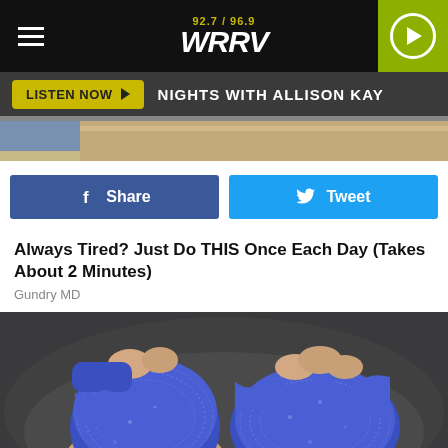92.7 / 96.9 WRRV
LISTEN NOW — NIGHTS WITH ALLISON KAY
[Figure (screenshot): Partial image of hands/skin at top, cropped advertisement strip]
f Share — Tweet (social share buttons)
Always Tired? Just Do THIS Once Each Day (Takes About 2 Minutes)
Gundry MD
[Figure (photo): Close-up photo of toes wrapped in blue mesh/bandage material against dark background]